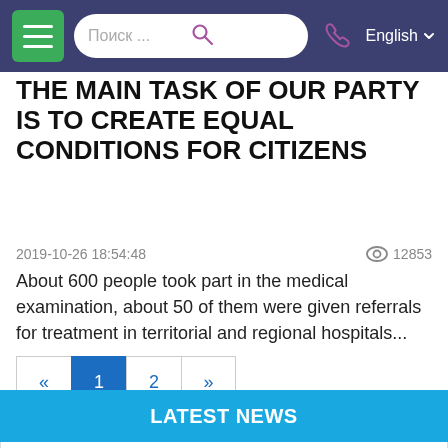Поиск ... | English
THE MAIN TASK OF OUR PARTY IS TO CREATE EQUAL CONDITIONS FOR CITIZENS
2019-10-26 18:54:48   👁 12853
About 600 people took part in the medical examination, about 50 of them were given referrals for treatment in territorial and regional hospitals...
« 1 2 »
LATEST NEWS
04-04-2022
Measures aimed at the sports development as the basis of a